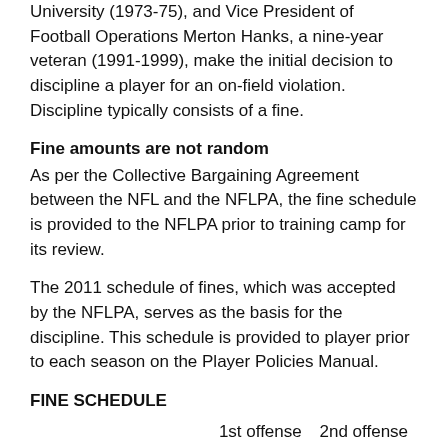University (1973-75), and Vice President of Football Operations Merton Hanks, a nine-year veteran (1991-1999), make the initial decision to discipline a player for an on-field violation. Discipline typically consists of a fine.
Fine amounts are not random
As per the Collective Bargaining Agreement between the NFL and the NFLPA, the fine schedule is provided to the NFLPA prior to training camp for its review.
The 2011 schedule of fines, which was accepted by the NFLPA, serves as the basis for the discipline. This schedule is provided to player prior to each season on the Player Policies Manual.
FINE SCHEDULE
|  | 1st offense | 2nd offense |
| --- | --- | --- |
| Striking/kicking/kneeing | $7,500 | $15,000 |
| Horse collar tackle | $15,000 | $20,000 |